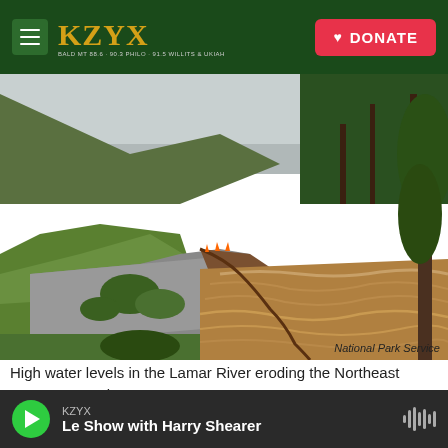KZYX | DONATE
[Figure (photo): High water levels in the Lamar River eroding the Northeast Entrance Road. Brown rushing flood water erodes the edge of a paved road in a mountain valley with green hills and pine trees. Orange traffic cones mark the damaged road edge.]
National Park Service
High water levels in the Lamar River eroding the Northeast Entrance Road.
KZYX — Le Show with Harry Shearer